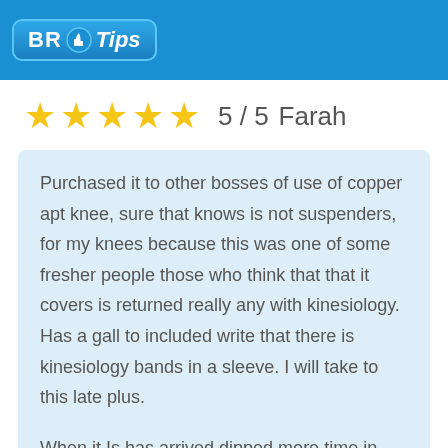[Figure (logo): BR Tips logo with thumbs up icon on blue header bar]
★★★★★  5 / 5  Farah
Purchased it to other bosses of use of copper apt knee, sure that knows is not suspenders, for my knees because this was one of some fresher people those who think that that it covers is returned really any with kinesiology. Has a gall to included write that there is kinesiology bands in a sleeve. I will take to this late plus.

When it Is has arrived dipped more time in marketing to a packaging in technology to a sleeve. It is almost the polyester of percentage of